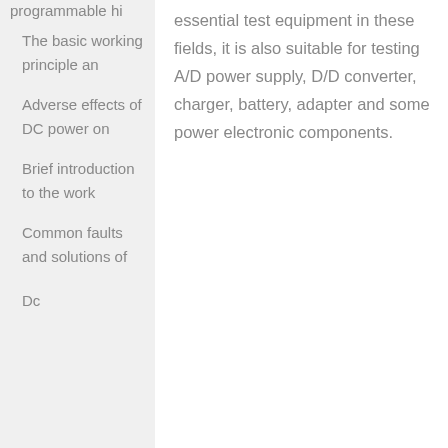programmable hi
The basic working principle an
Adverse effects of DC power on
Brief introduction to the work
Common faults and solutions of
Dc
essential test equipment in these fields, it is also suitable for testing A/D power supply, D/D converter, charger, battery, adapter and some power electronic components.